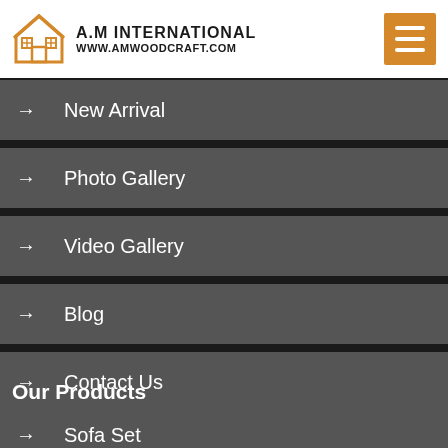A.M International www.amwoodcraft.com
New Arrival
Photo Gallery
Video Gallery
Blog
Contact Us
Market Area
Our Products
Sofa Set